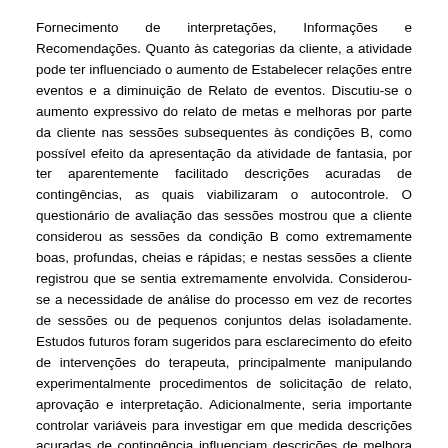Fornecimento de interpretações, Informações e Recomendações. Quanto às categorias da cliente, a atividade pode ter influenciado o aumento de Estabelecer relações entre eventos e a diminuição de Relato de eventos. Discutiu-se o aumento expressivo do relato de metas e melhoras por parte da cliente nas sessões subsequentes às condições B, como possível efeito da apresentação da atividade de fantasia, por ter aparentemente facilitado descrições acuradas de contingências, as quais viabilizaram o autocontrole. O questionário de avaliação das sessões mostrou que a cliente considerou as sessões da condição B como extremamente boas, profundas, cheias e rápidas; e nestas sessões a cliente registrou que se sentia extremamente envolvida. Considerou-se a necessidade de análise do processo em vez de recortes de sessões ou de pequenos conjuntos delas isoladamente. Estudos futuros foram sugeridos para esclarecimento do efeito de intervenções do terapeuta, principalmente manipulando experimentalmente procedimentos de solicitação de relato, aprovação e interpretação. Adicionalmente, seria importante controlar variáveis para investigar em que medida descrições acuradas de contingência influenciam descrições de melhora e de engajamento na mudança.
Abstract: The fantasy activities are usually examined during